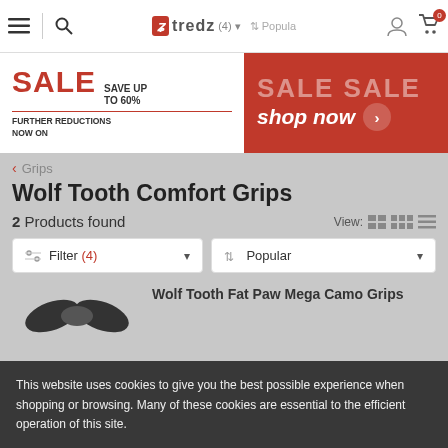Tredz navigation bar with menu, search, logo, filter sort, account and cart icons
[Figure (screenshot): Sale banner: SALE SAVE UP TO 60% FURTHER REDUCTIONS NOW ON on left white panel, SALE SALE and shop now button on red right panel]
< Grips
Wolf Tooth Comfort Grips
2 Products found  View:
Filter (4)  Popular
Wolf Tooth Fat Paw Mega Camo Grips
This website uses cookies to give you the best possible experience when shopping or browsing. Many of these cookies are essential to the efficient operation of this site.